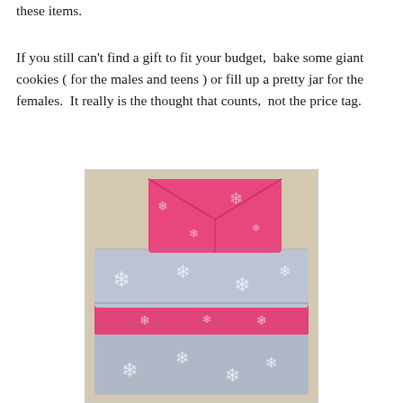these items.
If you still can't find a gift to fit your budget,  bake some giant cookies ( for the males and teens ) or fill up a pretty jar for the females.  It really is the thought that counts,  not the price tag.
[Figure (photo): A stack of wrapped Christmas gifts in pink and silver/grey wrapping paper with white snowflake patterns.]